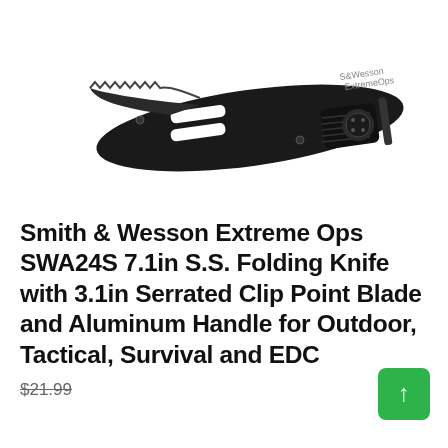[Figure (photo): Smith & Wesson Extreme Ops folding knife shown closed, with black aluminum handle featuring cut-out slots and textured grip, serrated blade visible at top]
Smith & Wesson Extreme Ops SWA24S 7.1in S.S. Folding Knife with 3.1in Serrated Clip Point Blade and Aluminum Handle for Outdoor, Tactical, Survival and EDC
$21.99